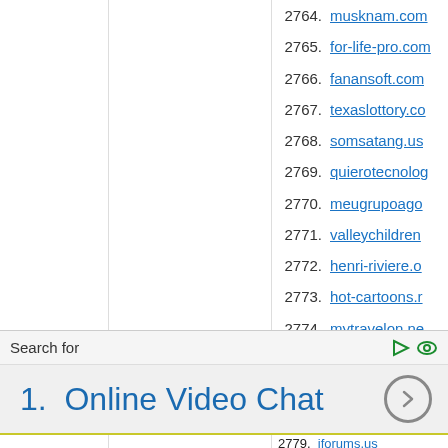2764. musknam.com
2765. for-life-pro.com
2766. fanansoft.com
2767. texaslottory.com
2768. somsatang.us
2769. quierotecnolog
2770. meugrupoago
2771. valleychildren
2772. henri-riviere.o
2773. hot-cartoons.r
2774. mytravelon.ne
2775. cycle-monton.
Search for
1.  Online Video Chat
2779. iforums.us